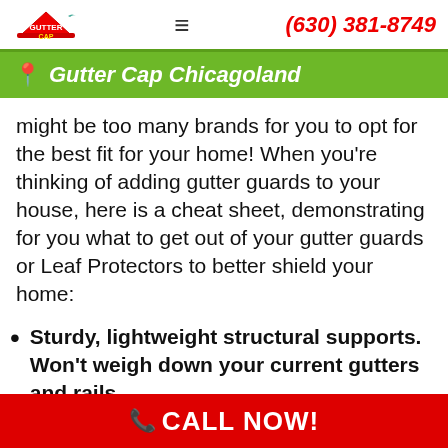Gutter Cap | (630) 381-8749
Gutter Cap Chicagoland
might be too many brands for you to opt for the best fit for your home! When you're thinking of adding gutter guards to your house, here is a cheat sheet, demonstrating for you what to get out of your gutter guards or Leaf Protectors to better shield your home:
Sturdy, lightweight structural supports. Won't weigh down your current gutters and rails.
CALL NOW!